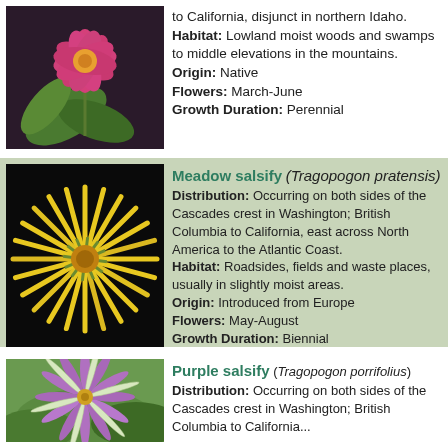to California, disjunct in northern Idaho. Habitat: Lowland moist woods and swamps to middle elevations in the mountains. Origin: Native Flowers: March-June Growth Duration: Perennial
[Figure (photo): Pink flower with green leaves, photographed on a dark background, top-left entry]
Meadow salsify (Tragopogon pratensis) Distribution: Occurring on both sides of the Cascades crest in Washington; British Columbia to California, east across North America to the Atlantic Coast. Habitat: Roadsides, fields and waste places, usually in slightly moist areas. Origin: Introduced from Europe Flowers: May-August Growth Duration: Biennial
[Figure (photo): Yellow dandelion-like flower (Tragopogon pratensis) on black background]
Purple salsify (Tragopogon porrifolius) Distribution: Occurring on both sides of the Cascades crest in Washington; British Columbia to California...
[Figure (photo): Purple salsify flower (Tragopogon porrifolius) with purple petals and green background]